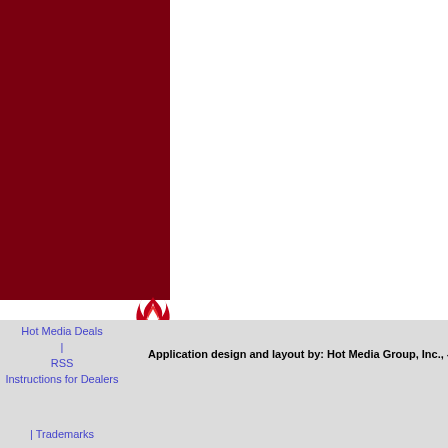[Figure (logo): Dark red/maroon rectangle block occupying top-left portion of the page]
[Figure (logo): HMG flame logo — red flame illustration above a red badge with 'HMG' text in white]
Hot Media Deals | RSS Instructions for Dealers | Trademarks
Application design and layout by: Hot Media Group, Inc., - Copyright © 2000-